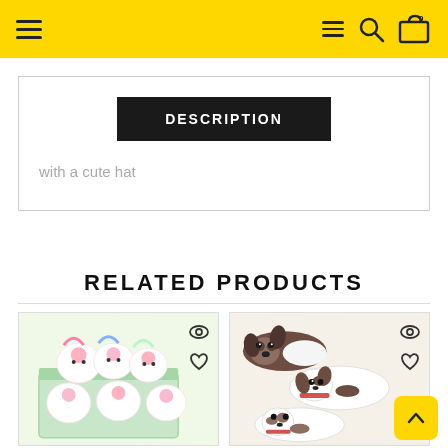Navigation header with hamburger menu, search and cart icons on yellow background
DESCRIPTION
with a cute hat
RELATED PRODUCTS
[Figure (photo): Display box of cute unicorn plush toys in pink and white colors with rainbow manes]
[Figure (photo): Several brown and white puppy dog plush toys lying flat]